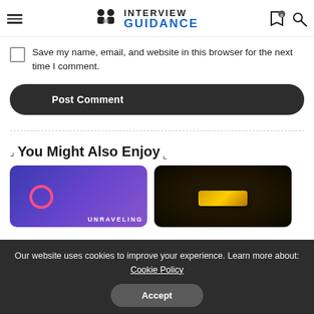INTERVIEW GUIDANCE
Save my name, email, and website in this browser for the next time I comment.
Post Comment
You Might Also Enjoy
[Figure (photo): Blue/purple gradient card thumbnail with pink ring icon and 'UNRAVELING' text]
[Figure (photo): Dark background card thumbnail with gold bar element]
Our website uses cookies to improve your experience. Learn more about: Cookie Policy
Accept